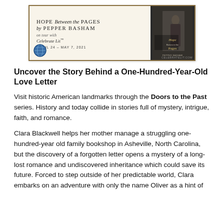[Figure (other): Book tour banner for 'Hope Between the Pages by Pepper Basham' on tour with Celebrate Lit, April 24 - May 7, 2021, with book cover image on the right.]
Uncover the Story Behind a One-Hundred-Year-Old Love Letter
Visit historic American landmarks through the Doors to the Past series. History and today collide in stories full of mystery, intrigue, faith, and romance.
Clara Blackwell helps her mother manage a struggling one-hundred-year old family bookshop in Asheville, North Carolina, but the discovery of a forgotten letter opens a mystery of a long-lost romance and undiscovered inheritance which could save its future. Forced to step outside of her predictable world, Clara embarks on an adventure with only the name Oliver as a hint of